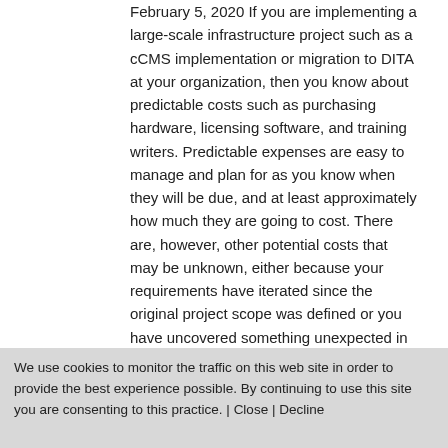February 5, 2020 If you are implementing a large-scale infrastructure project such as a cCMS implementation or migration to DITA at your organization, then you know about predictable costs such as purchasing hardware, licensing software, and training writers. Predictable expenses are easy to manage and plan for as you know when they will be due, and at least approximately how much they are going to cost. There are, however, other potential costs that may be unknown, either because your requirements have iterated since the original project scope was defined or you have uncovered something unexpected in your environment. These unpredictable
We use cookies to monitor the traffic on this web site in order to provide the best experience possible. By continuing to use this site you are consenting to this practice. | Close | Decline